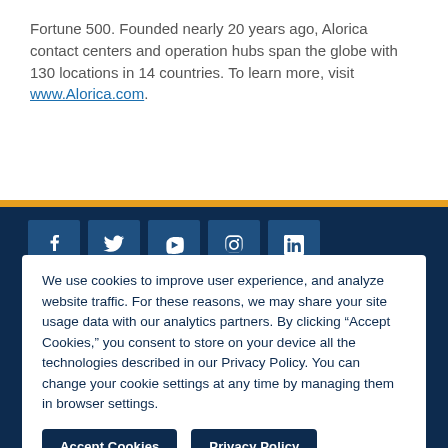Fortune 500. Founded nearly 20 years ago, Alorica contact centers and operation hubs span the globe with 130 locations in 14 countries. To learn more, visit www.Alorica.com.
[Figure (other): Dark navy footer section with social media icon buttons (Facebook, Twitter, YouTube, Instagram, LinkedIn) and an orange horizontal bar separator above]
We use cookies to improve user experience, and analyze website traffic. For these reasons, we may share your site usage data with our analytics partners. By clicking “Accept Cookies,” you consent to store on your device all the technologies described in our Privacy Policy. You can change your cookie settings at any time by managing them in browser settings.